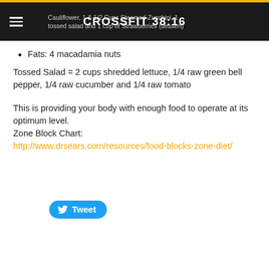CROSSFIT 38:16
Cauliflower, 1 & 1/2 Cups Steamed Zucchini, 1 tossed salad and 1 cup of Strawberries (dessert)
Fats: 4 macadamia nuts
Tossed Salad = 2 cups shredded lettuce, 1/4 raw green bell pepper, 1/4 raw cucumber and 1/4 raw tomato
This is providing your body with enough food to operate at its optimum level.
Zone Block Chart:
http://www.drsears.com/resources/food-blocks-zone-diet/